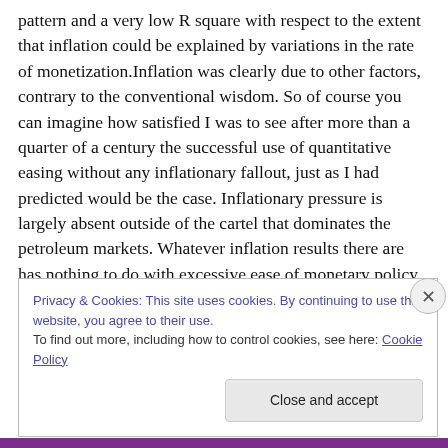pattern and a very low R square with respect to the extent that inflation could be explained by variations in the rate of monetization.Inflation was clearly due to other factors, contrary to the conventional wisdom. So of course you can imagine how satisfied I was to see after more than a quarter of a century the successful use of quantitative easing without any inflationary fallout, just as I had predicted would be the case. Inflationary pressure is largely absent outside of the cartel that dominates the petroleum markets. Whatever inflation results there are has nothing to do with excessive ease of monetary policy.
Privacy & Cookies: This site uses cookies. By continuing to use this website, you agree to their use.
To find out more, including how to control cookies, see here: Cookie Policy
Close and accept